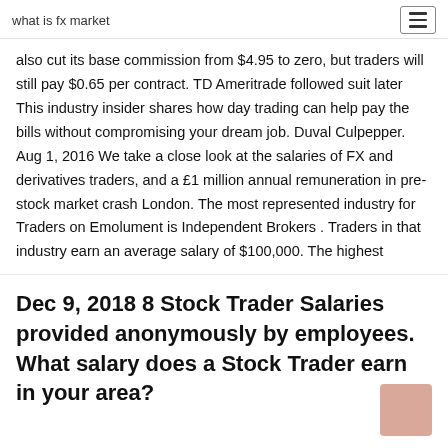what is fx market
also cut its base commission from $4.95 to zero, but traders will still pay $0.65 per contract. TD Ameritrade followed suit later This industry insider shares how day trading can help pay the bills without compromising your dream job. Duval Culpepper. Aug 1, 2016 We take a close look at the salaries of FX and derivatives traders, and a £1 million annual remuneration in pre-stock market crash London. The most represented industry for Traders on Emolument is Independent Brokers . Traders in that industry earn an average salary of $100,000. The highest
Dec 9, 2018 8 Stock Trader Salaries provided anonymously by employees. What salary does a Stock Trader earn in your area?